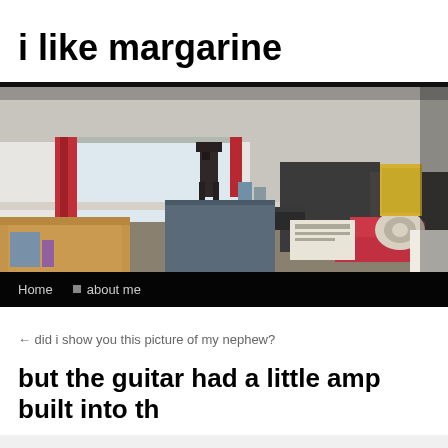i like margarine
[Figure (photo): A cluttered room with boxes, a dark storage bin, a red cloth item, tape roll, and various items on surfaces. A Star Wars AT-AT figure is visible in the background near a window with red curtains.]
Home  about me
← did i show you this picture of my nephew?
but the guitar had a little amp built into th